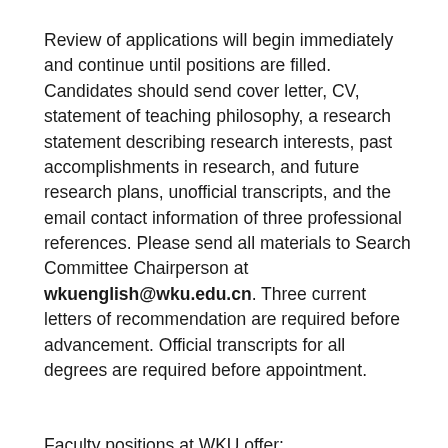Review of applications will begin immediately and continue until positions are filled. Candidates should send cover letter, CV, statement of teaching philosophy, a research statement describing research interests, past accomplishments in research, and future research plans, unofficial transcripts, and the email contact information of three professional references. Please send all materials to Search Committee Chairperson at wkuenglish@wku.edu.cn. Three current letters of recommendation are required before advancement. Official transcripts for all degrees are required before appointment.
Faculty positions at WKU offer:
Salary is $67,000 to $75,000 for Assistant Professors and $73,000 to $83,00 for Associate Professors depending on qualifications and experience